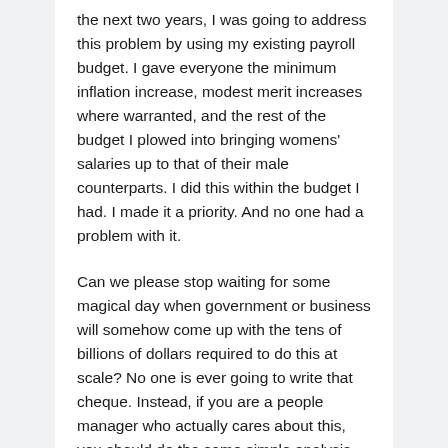the next two years, I was going to address this problem by using my existing payroll budget. I gave everyone the minimum inflation increase, modest merit increases where warranted, and the rest of the budget I plowed into bringing womens' salaries up to that of their male counterparts. I did this within the budget I had. I made it a priority. And no one had a problem with it.
Can we please stop waiting for some magical day when government or business will somehow come up with the tens of billions of dollars required to do this at scale? No one is ever going to write that cheque. Instead, if you are a people manager who actually cares about this, you should do the same simple analysis, figure out where you need to be, what you have to work with, and fix pay inequality on your own team. If leaders take